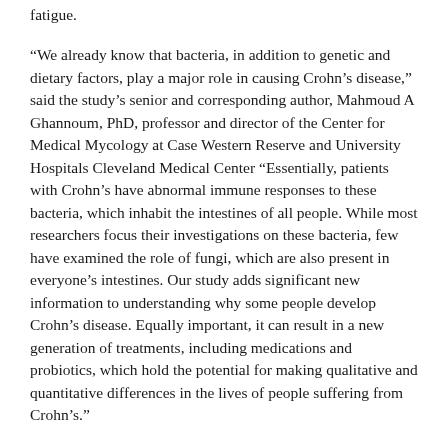fatigue.
“We already know that bacteria, in addition to genetic and dietary factors, play a major role in causing Crohn’s disease,” said the study’s senior and corresponding author, Mahmoud A Ghannoum, PhD, professor and director of the Center for Medical Mycology at Case Western Reserve and University Hospitals Cleveland Medical Center “Essentially, patients with Crohn’s have abnormal immune responses to these bacteria, which inhabit the intestines of all people. While most researchers focus their investigations on these bacteria, few have examined the role of fungi, which are also present in everyone’s intestines. Our study adds significant new information to understanding why some people develop Crohn’s disease. Equally important, it can result in a new generation of treatments, including medications and probiotics, which hold the potential for making qualitative and quantitative differences in the lives of people suffering from Crohn’s.”
Both bacteria and fungi are microorganisms – infinitesimal forms of life that can only be seen with a microscope. Fungi are eukaryotes: organism whose cells contain a nucleus; they are closer to humans than bacteria, which are prokaryotes: